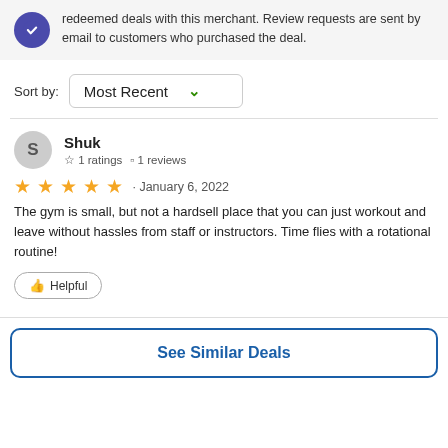All Groupon reviews are from people who have redeemed deals with this merchant. Review requests are sent by email to customers who purchased the deal.
Sort by: Most Recent
Shuk
☆ 1 ratings  □ 1 reviews
★★★★★ · January 6, 2022
The gym is small, but not a hardsell place that you can just workout and leave without hassles from staff or instructors. Time flies with a rotational routine!
👍 Helpful
See Similar Deals